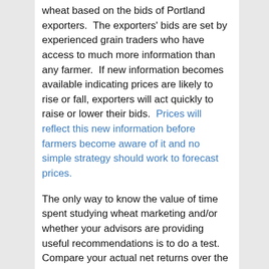wheat based on the bids of Portland exporters.  The exporters' bids are set by experienced grain traders who have access to much more information than any farmer.  If new information becomes available indicating prices are likely to rise or fall, exporters will act quickly to raise or lower their bids.  Prices will reflect this new information before farmers become aware of it and no simple strategy should work to forecast prices.
The only way to know the value of time spent studying wheat marketing and/or whether your advisors are providing useful recommendations is to do a test.  Compare your actual net returns over the last ten years to the returns you would have received if you had used some simple strategy—say, selling on September 15th each year or selling once a week from harvest through November.  One reason I was a fan of Larry Lev's marketing approach was his willingness to test his strategies against selling the crop at harvest.  He was able to show that his "harvest marketing strategy" increases returns by a small amount—about 5% over two